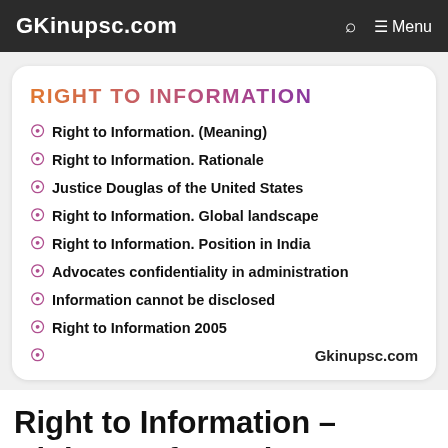GKinupsc.com  ⌕  ≡ Menu
RIGHT TO INFORMATION
Right to Information. (Meaning)
Right to Information.  Rationale
Justice Douglas of the United States
Right to Information.  Global landscape
Right to Information.   Position in India
Advocates confidentiality in administration
Information cannot be disclosed
Right to Information 2005
Gkinupsc.com
Right to Information –
Right to Information